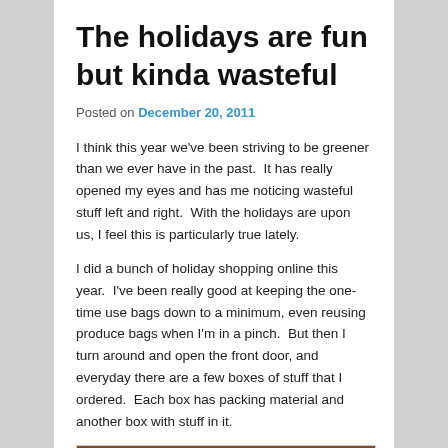The holidays are fun but kinda wasteful
Posted on December 20, 2011
I think this year we’ve been striving to be greener than we ever have in the past.  It has really opened my eyes and has me noticing wasteful stuff left and right.  With the holidays are upon us, I feel this is particularly true lately.
I did a bunch of holiday shopping online this year.  I’ve been really good at keeping the one-time use bags down to a minimum, even reusing produce bags when I’m in a pinch.  But then I turn around and open the front door, and everyday there are a few boxes of stuff that I ordered.  Each box has packing material and another box with stuff in it.
[Figure (photo): A photo showing boxes or holiday shopping related items with dark brown tones.]